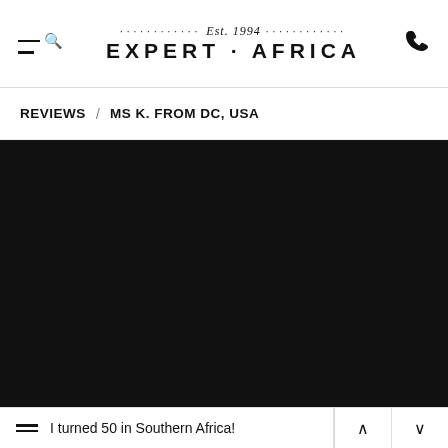Expert Africa — Est. 1994
REVIEWS / MS K. FROM DC, USA
[Figure (photo): Large dark/black photograph occupying the middle section of the page, content not visible due to darkness.]
I turned 50 in Southern Africa!